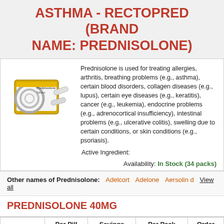ASTHMA - RECTOPRED (BRAND NAME: PREDNISOLONE)
[Figure (photo): Box of Prednisolone Tablets medication package, yellow and white box with gray swirl design]
Prednisolone is used for treating allergies, arthritis, breathing problems (e.g., asthma), certain blood disorders, collagen diseases (e.g., lupus), certain eye diseases (e.g., keratitis), cancer (e.g., leukemia), endocrine problems (e.g., adrenocortical insufficiency), intestinal problems (e.g., ulcerative colitis), swelling due to certain conditions, or skin conditions (e.g., psoriasis).
Active Ingredient:
Availability: In Stock (34 packs)
Other names of Prednisolone: Adelcort Adelone Aersolin d View all
PREDNISOLONE 40MG
|  | Per Pill | Savings | Per Pack | Order |
| --- | --- | --- | --- | --- |